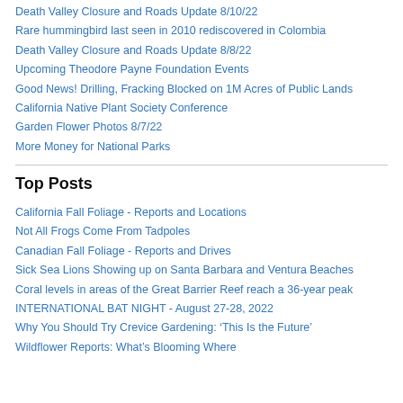Death Valley Closure and Roads Update 8/10/22
Rare hummingbird last seen in 2010 rediscovered in Colombia
Death Valley Closure and Roads Update 8/8/22
Upcoming Theodore Payne Foundation Events
Good News! Drilling, Fracking Blocked on 1M Acres of Public Lands
California Native Plant Society Conference
Garden Flower Photos 8/7/22
More Money for National Parks
Top Posts
California Fall Foliage - Reports and Locations
Not All Frogs Come From Tadpoles
Canadian Fall Foliage - Reports and Drives
Sick Sea Lions Showing up on Santa Barbara and Ventura Beaches
Coral levels in areas of the Great Barrier Reef reach a 36-year peak
INTERNATIONAL BAT NIGHT - August 27-28, 2022
Why You Should Try Crevice Gardening: ‘This Is the Future’
Wildflower Reports: What’s Blooming Where